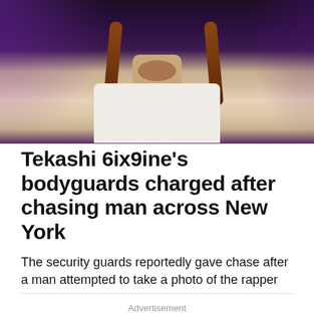[Figure (photo): Photo of Tekashi 6ix9ine performing on stage, wearing a white shirt, with braided hair and neck tattoos, purple stage lighting in the background]
Tekashi 6ix9ine’s bodyguards charged after chasing man across New York
The security guards reportedly gave chase after a man attempted to take a photo of the rapper
Advertisement